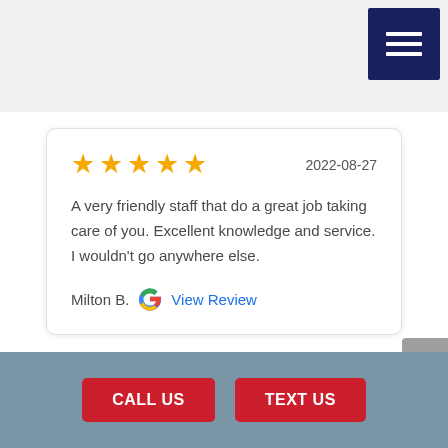[Figure (other): Hamburger/menu icon button with three horizontal white lines on dark navy background]
★★★★★  2022-08-27

A very friendly staff that do a great job taking care of you. Excellent knowledge and service. I wouldn't go anywhere else.

Milton B.  [Google logo]  View Review
CALL US  TEXT US